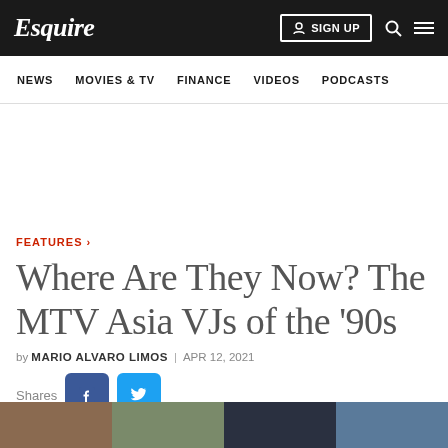Esquire
NEWS | MOVIES & TV | FINANCE | VIDEOS | PODCASTS
FEATURES >
Where Are They Now? The MTV Asia VJs of the '90s
by MARIO ALVARO LIMOS | APR 12, 2021
Shares